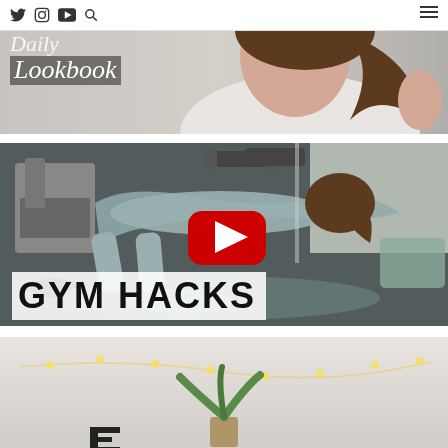Twitter Instagram YouTube Search | Menu | Daily Lookbook
[Figure (photo): Woman with long brown hair wearing white top, upper body shot - Daily Lookbook website header image with blog logo overlay]
[Figure (photo): Woman doing a plank exercise on a yoga mat in a home gym with treadmill and dumbbells in background. YouTube play button overlay. Text overlay reads GYM HACKS in large bold letters.]
[Figure (photo): Partial view of a bright room with fairy lights and a plant - third content thumbnail partially visible]